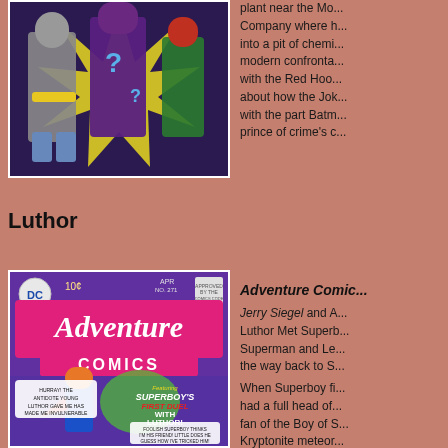[Figure (illustration): Comic book cover or panel showing Batman, Joker with question marks, and Robin against a yellow starburst background]
plant near the Mo... Company where h... into a pit of chemi... modern confronta... with the Red Hoo... about how the Jok... with the part Batm... prince of crime's c...
Luthor
[Figure (illustration): Adventure Comics cover featuring Superboy's First Duel with Luthor, showing Superboy and green Kryptonite meteors, published by DC Comics, 10 cents, April issue No. 271]
Adventure Comic...
Jerry Siegel and A... Luthor Met Superb... Superman and Le... the way back to S...
When Superboy fi... had a full head of... fan of the Boy of S... Kryptonite meteor... Superboy builds L... invents a formula...